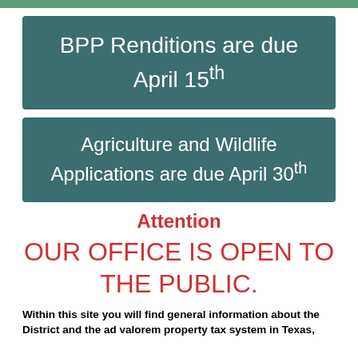BPP Renditions are due April 15th
Agriculture and Wildlife Applications are due April 30th
Attention
OUR OFFICE IS OPEN TO THE PUBLIC.
Within this site you will find general information about the District and the ad valorem property tax system in Texas,